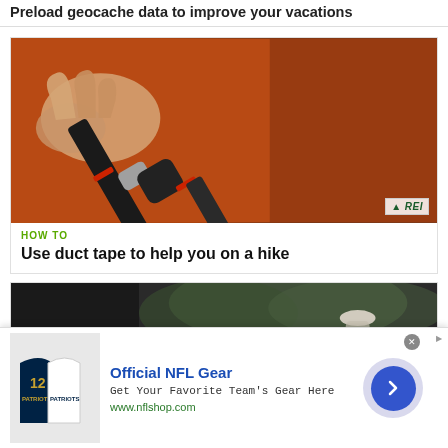Preload geocache data to improve your vacations
[Figure (photo): Close-up photo of a black hiking pole being adjusted, held by a person wearing an orange fleece. REI logo badge in bottom-right corner.]
HOW TO
Use duct tape to help you on a hike
[Figure (photo): Partial view of an outdoor scene with dark background, person in cap visible on right side.]
[Figure (infographic): Advertisement banner: Official NFL Gear - Get Your Favorite Team's Gear Here - www.nflshop.com. Shows NFL jerseys image on left, text in center, navigation arrow on right.]